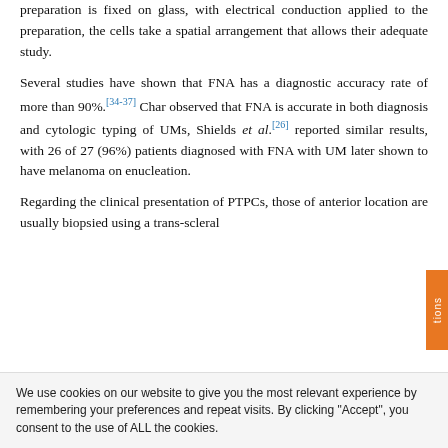preparation is fixed on glass, with electrical conduction applied to the preparation, the cells take a spatial arrangement that allows their adequate study.
Several studies have shown that FNA has a diagnostic accuracy rate of more than 90%.[34-37] Char observed that FNA is accurate in both diagnosis and cytologic typing of UMs, Shields et al.[26] reported similar results, with 26 of 27 (96%) patients diagnosed with FNA with UM later shown to have melanoma on enucleation.
Regarding the clinical presentation of PTPCs, those of anterior location are usually biopsied using a trans-scleral
We use cookies on our website to give you the most relevant experience by remembering your preferences and repeat visits. By clicking "Accept", you consent to the use of ALL the cookies.
Do not sell my personal information.